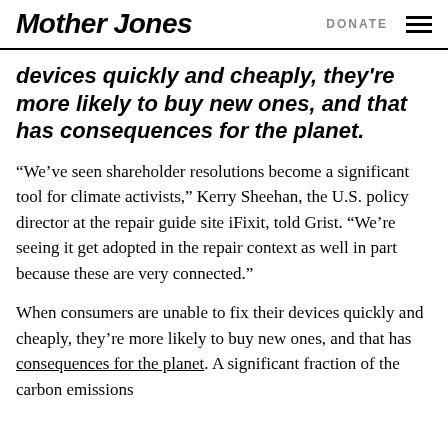Mother Jones | DONATE
devices quickly and cheaply, they're more likely to buy new ones, and that has consequences for the planet.
“We’ve seen shareholder resolutions become a significant tool for climate activists,” Kerry Sheehan, the U.S. policy director at the repair guide site iFixit, told Grist. “We’re seeing it get adopted in the repair context as well in part because these are very connected.”
When consumers are unable to fix their devices quickly and cheaply, they’re more likely to buy new ones, and that has consequences for the planet. A significant fraction of the carbon emissions